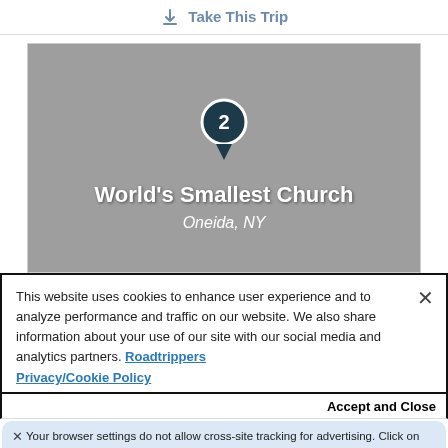Take This Trip
[Figure (map): Map screenshot showing a pin marker labeled '2' with 'World's Smallest Church, Oneida, NY' text overlay on a grey map background.]
This website uses cookies to enhance user experience and to analyze performance and traffic on our website. We also share information about your use of our site with our social media and analytics partners. Roadtrippers Privacy/Cookie Policy
Accept and Close
Your browser settings do not allow cross-site tracking for advertising. Click on this page to allow AdRoll to use cross-site tracking to tailor ads to you. Learn more or opt out of this AdRoll tracking by clicking here. This message only appears once.